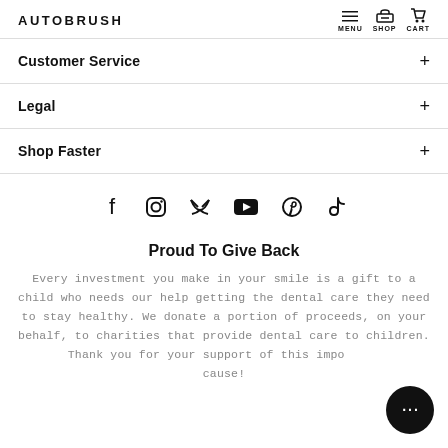AUTOBRUSH  MENU  SHOP  CART
Customer Service
Legal
Shop Faster
[Figure (infographic): Social media icons row: Facebook, Instagram, Twitter, YouTube, Pinterest, TikTok]
Proud To Give Back
Every investment you make in your smile is a gift to a child who needs our help getting the dental care they need to stay healthy. We donate a portion of proceeds, on your behalf, to charities that provide dental care to children. Thank you for your support of this important cause!